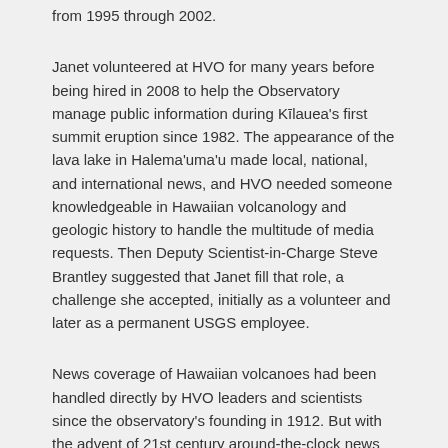from 1995 through 2002.
Janet volunteered at HVO for many years before being hired in 2008 to help the Observatory manage public information during Kīlauea's first summit eruption since 1982. The appearance of the lava lake in Halema'uma'u made local, national, and international news, and HVO needed someone knowledgeable in Hawaiian volcanology and geologic history to handle the multitude of media requests. Then Deputy Scientist-in-Charge Steve Brantley suggested that Janet fill that role, a challenge she accepted, initially as a volunteer and later as a permanent USGS employee.
News coverage of Hawaiian volcanoes had been handled directly by HVO leaders and scientists since the observatory's founding in 1912. But with the advent of 21st century around-the-clock news cycles and internet-based radio, television, and social media, HVO